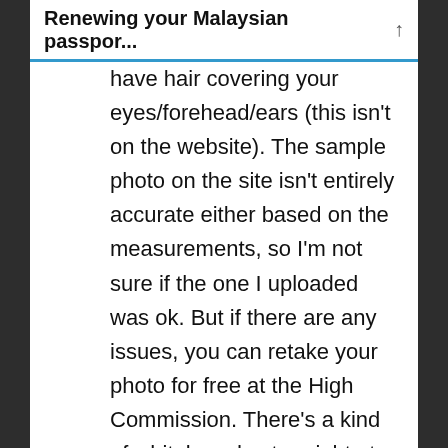Renewing your Malaysian passpor...
have hair covering your eyes/forehead/ears (this isn't on the website). The sample photo on the site isn't entirely accurate either based on the measurements, so I'm not sure if the one I uploaded was ok. But if there are any issues, you can retake your photo for free at the High Commission. There's a kind of whiteboard setup right at the counter with a black blazer to put on, so a reshoot will only take a minute. There's also a photo booth at the back of the waiting area.
– Online payment was smooth using